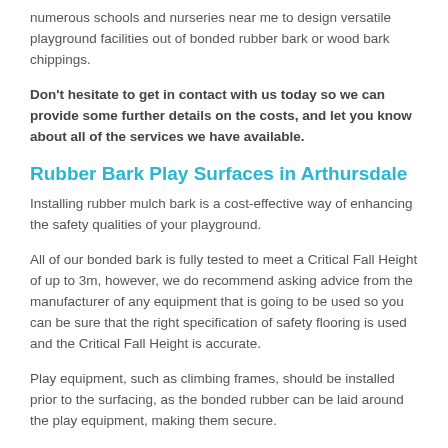numerous schools and nurseries near me to design versatile playground facilities out of bonded rubber bark or wood bark chippings.
Don't hesitate to get in contact with us today so we can provide some further details on the costs, and let you know about all of the services we have available.
Rubber Bark Play Surfaces in Arthursdale
Installing rubber mulch bark is a cost-effective way of enhancing the safety qualities of your playground.
All of our bonded bark is fully tested to meet a Critical Fall Height of up to 3m, however, we do recommend asking advice from the manufacturer of any equipment that is going to be used so you can be sure that the right specification of safety flooring is used and the Critical Fall Height is accurate.
Play equipment, such as climbing frames, should be installed prior to the surfacing, as the bonded rubber can be laid around the play equipment, making them secure.